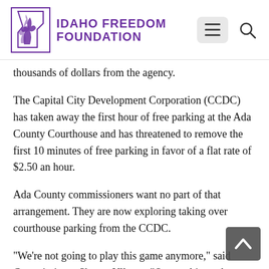IDAHO FREEDOM FOUNDATION
thousands of dollars from the agency.
The Capital City Development Corporation (CCDC) has taken away the first hour of free parking at the Ada County Courthouse and has threatened to remove the first 10 minutes of free parking in favor of a flat rate of $2.50 an hour.
Ada County commissioners want no part of that arrangement. They are now exploring taking over courthouse parking from the CCDC.
"We're not going to play this game anymore," said Commissioner Sharon Ullman. "Our goal is to charge as little as we can for parking. Ultimately, I'd like to have free parking for people doing business with county government, but I don't know if that is